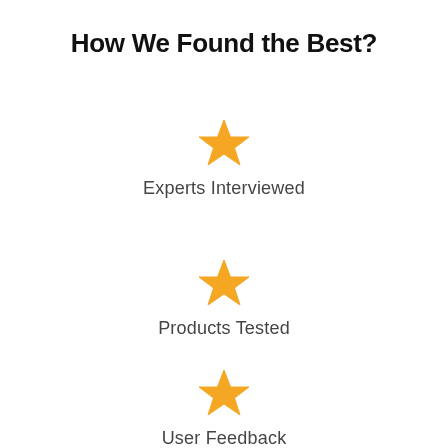How We Found the Best?
[Figure (illustration): Gold/amber star icon above label 'Experts Interviewed']
Experts Interviewed
[Figure (illustration): Gold/amber star icon above label 'Products Tested']
Products Tested
[Figure (illustration): Gold/amber star icon above label 'User Feedback']
User Feedback